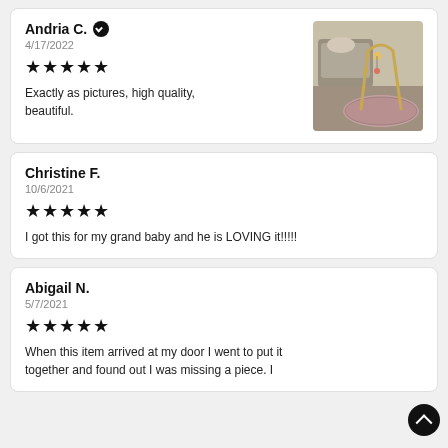Andria C. ✔ — 4/17/2022 — ★★★★★ — Exactly as pictures, high quality, beautiful.
[Figure (photo): Photo of a baby play gym/play mat with a golden frame arch and a floral round mat, with a recliner chair and pillow in the background]
Christine F. — 10/6/2021 — ★★★★★ — I got this for my grand baby and he is LOVING it!!!!!
Abigail N. — 5/7/2021 — ★★★★★ — When this item arrived at my door I went to put it together and found out I was missing a piece. I